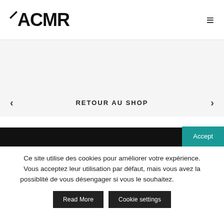UACMR [logo] — hamburger menu
RETOUR AU SHOP
© 2022 CHINESE MAN RECORDS – Independent Music since 2004 |
Ce site utilise des cookies pour améliorer votre expérience. Vous acceptez leur utilisation par défaut, mais vous avez la possiblité de vous désengager si vous le souhaitez.
Accept
Read More
Cookie settings